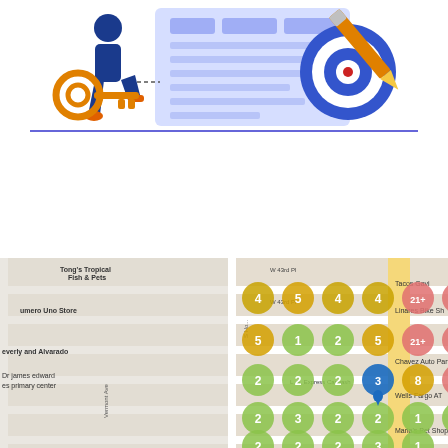[Figure (illustration): Illustration of a person with a key, a form/document with checkboxes and lines, and a target with a pencil. Blue and orange color scheme.]
[Figure (map): Google Maps street map showing a grid of colored numbered circles overlaid on a neighborhood. Circles are green (low numbers 1-5), orange (medium 4-5), and red/pink (high numbers 8-21+). Numbers visible: 4,5,4,4,21+,12,21+,5,1,2,5,21+,19,21+,2,2,2,3(blue pin),8,15,14,2,3,2,2,1,2,2,2,2,2,3,1,7. Streets include Vermont Ave, S Hoover, W 43rd. Nearby places: Tong's Tropical Fish & Pets, Ross Dress for Less, Numero Uno Store, Beverly and Alvarado, Dr James Edward primary center, Linares Bike Shop, Chavez Auto Parts, Wells Fargo ATM, Maria's Pet Shop, Tacos Gavilan, LA Express Carwash.]